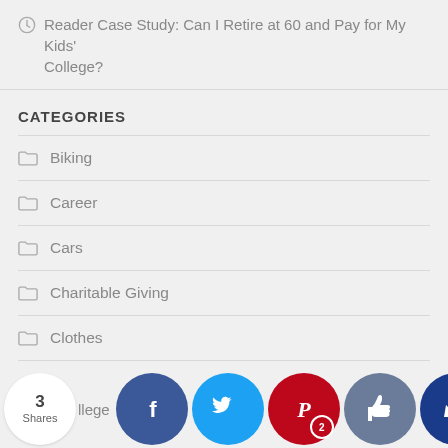Reader Case Study: Can I Retire at 60 and Pay for My Kids' College?
CATEGORIES
Biking
Career
Cars
Charitable Giving
Clothes